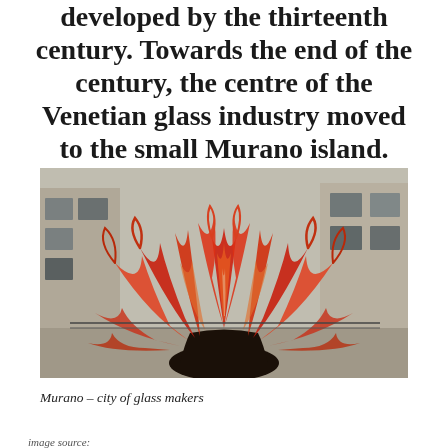developed by the thirteenth century. Towards the end of the century, the centre of the Venetian glass industry moved to the small Murano island.
[Figure (photo): A large colourful Murano glass sculpture with flame-like red and orange glass tendrils spreading outward, set outdoors in front of old stone buildings. The sculpture sits on a dark round base.]
Murano – city of glass makers
image source: